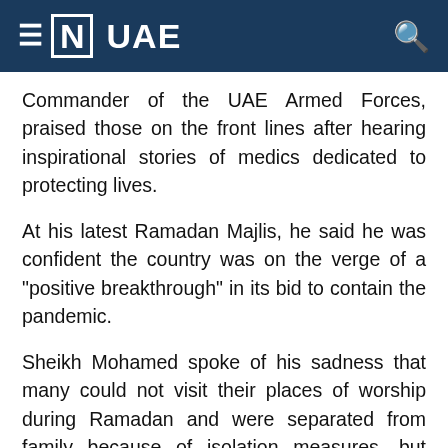≡ [N] UAE
Commander of the UAE Armed Forces, praised those on the front lines after hearing inspirational stories of medics dedicated to protecting lives.
At his latest Ramadan Majlis, he said he was confident the country was on the verge of a "positive breakthrough" in its bid to contain the pandemic.
Sheikh Mohamed spoke of his sadness that many could not visit their places of worship during Ramadan and were separated from family because of isolation measures, but called for the public to remain patient.